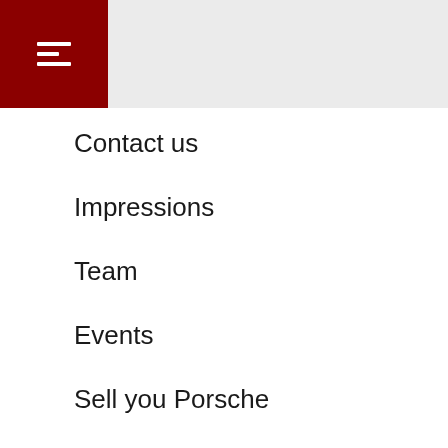[Figure (other): Navigation header bar with dark red/maroon background on left containing a hamburger menu icon (three horizontal white lines), and light grey background on the right portion]
Contact us
Impressions
Team
Events
Sell you Porsche
Porsche Club
Porsche Service
Porsche Approved